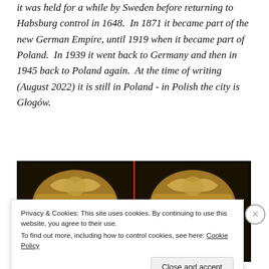it was held for a while by Sweden before returning to Habsburg control in 1648.  In 1871 it became part of the new German Empire, until 1919 when it became part of Poland.  In 1939 it went back to Germany and then in 1945 back to Poland again.  At the time of writing (August 2022) it is still in Poland - in Polish the city is Głogów.
[Figure (photo): Stereo photograph showing two side-by-side images of what appears to be a historical document or book cover with gothic-style text and decorative imagery including a draped figure.]
Privacy & Cookies: This site uses cookies. By continuing to use this website, you agree to their use.
To find out more, including how to control cookies, see here: Cookie Policy